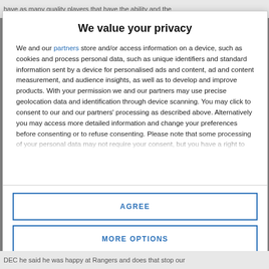have as many quality players that have the ability and the
We value your privacy
We and our partners store and/or access information on a device, such as cookies and process personal data, such as unique identifiers and standard information sent by a device for personalised ads and content, ad and content measurement, and audience insights, as well as to develop and improve products. With your permission we and our partners may use precise geolocation data and identification through device scanning. You may click to consent to our and our partners' processing as described above. Alternatively you may access more detailed information and change your preferences before consenting or to refuse consenting. Please note that some processing of your personal data may not require your consent, but you have a right to
AGREE
MORE OPTIONS
DEC he said he was happy at Rangers and does that stop our